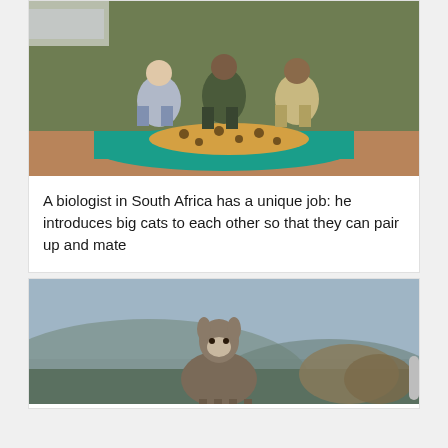[Figure (photo): Photo of a biologist and two other people crouching beside a sedated cheetah lying on a teal/turquoise mat on a dirt path in South Africa, with grassland in the background.]
A biologist in South Africa has a unique job: he introduces big cats to each other so that they can pair up and mate
[Figure (photo): Photo of a small deer (klipspringer or similar antelope) standing on rocky terrain with a blurred blue-grey mountainous background and dry shrubbery to the right.]